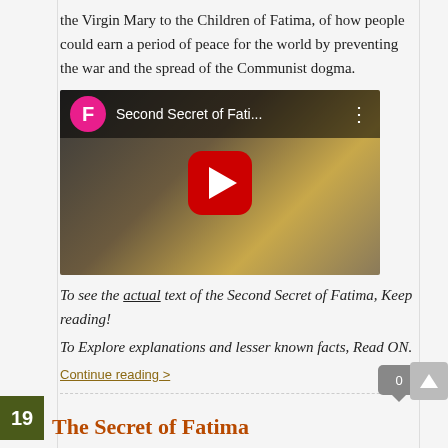the Virgin Mary to the Children of Fatima, of how people could earn a period of peace for the world by preventing the war and the spread of the Communist dogma.
[Figure (screenshot): YouTube video thumbnail showing 'Second Secret of Fati...' with pink F avatar icon, red YouTube play button, and dark atmospheric background image]
To see the actual text of the Second Secret of Fatima, Keep reading!
To Explore explanations and lesser known facts, Read ON.
Continue reading >
The Secret of Fatima